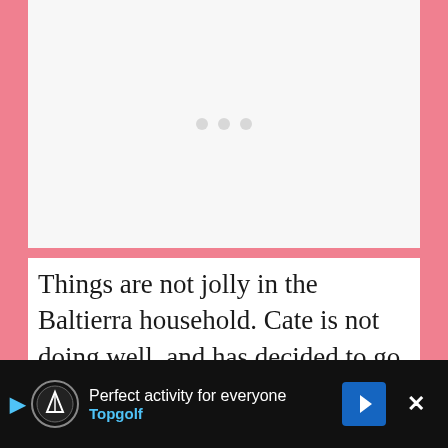[Figure (other): Image placeholder with three loading dots on a light gray background]
Things are not jolly in the Baltierra household. Cate is not doing well, and has decided to go to a facility in Arizona to get herself back to a healthy state. Tyler says that Cate bringing a pet pig into this mess
[Figure (other): Advertisement bar at the bottom: Topgolf ad with logo, 'Perfect activity for everyone' text, navigation icon, and close button]